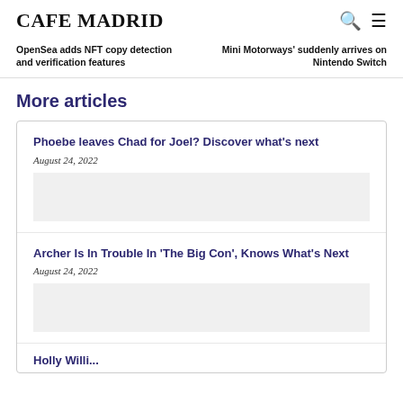CAFE MADRID
OpenSea adds NFT copy detection and verification features
Mini Motorways' suddenly arrives on Nintendo Switch
More articles
Phoebe leaves Chad for Joel? Discover what’s next
August 24, 2022
Archer Is In Trouble In ‘The Big Con’, Knows What’s Next
August 24, 2022